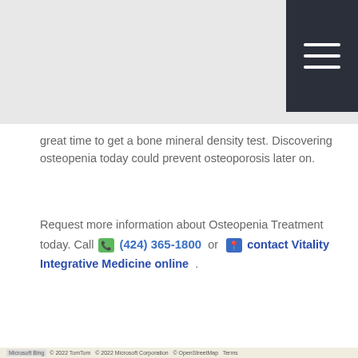[Figure (other): Dark navigation menu bar in top right corner with three horizontal white lines (hamburger menu icon)]
great time to get a bone mineral density test. Discovering osteopenia today could prevent osteoporosis later on.
Request more information about Osteopenia Treatment today. Call (424) 365-1800 or contact Vitality Integrative Medicine online .
[Figure (map): Interactive map showing location of Vitality Integrative Medicine with a red pin marker, showing streets including Kester Ave, Magnolia Blvd, Riverside Dr, highway 101, Westfield Fashion Square area. Map controls show zoom in/out buttons and Road view button. Copyright 2022 TomTom, Microsoft Corporation, OpenStreetMap.]
Hours and Directions
VITALITY INTEGRATIVE MEDICINE